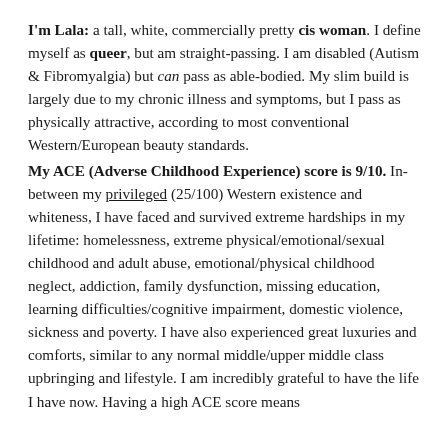I'm Lala: a tall, white, commercially pretty cis woman. I define myself as queer, but am straight-passing. I am disabled (Autism & Fibromyalgia) but can pass as able-bodied. My slim build is largely due to my chronic illness and symptoms, but I pass as physically attractive, according to most conventional Western/European beauty standards.
My ACE (Adverse Childhood Experience) score is 9/10. In-between my privileged (25/100) Western existence and whiteness, I have faced and survived extreme hardships in my lifetime: homelessness, extreme physical/emotional/sexual childhood and adult abuse, emotional/physical childhood neglect, addiction, family dysfunction, missing education, learning difficulties/cognitive impairment, domestic violence, sickness and poverty. I have also experienced great luxuries and comforts, similar to any normal middle/upper middle class upbringing and lifestyle. I am incredibly grateful to have the life I have now. Having a high ACE score means